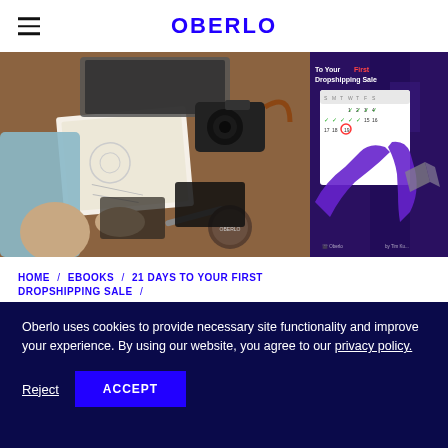OBERLO
[Figure (photo): Overhead view of a person's hands sketching designs in a notebook on a wooden desk with a laptop and camera nearby]
[Figure (screenshot): Animated/illustrated image showing a calendar with checkmarks and purple hands, text reads 'To Your First Dropshipping Sale']
HOME / EBOOKS / 21 DAYS TO YOUR FIRST DROPSHIPPING SALE /
Oberlo uses cookies to provide necessary site functionality and improve your experience. By using our website, you agree to our privacy policy.
Reject
ACCEPT